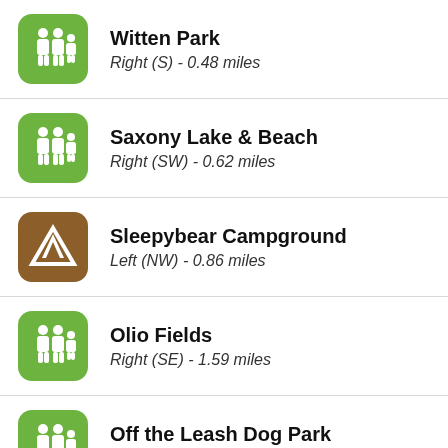Witten Park
Right (S) - 0.48 miles
Saxony Lake & Beach
Right (SW) - 0.62 miles
Sleepybear Campground
Left (NW) - 0.86 miles
Olio Fields
Right (SE) - 1.59 miles
Off the Leash Dog Park
Right (SE) - 2.35 miles